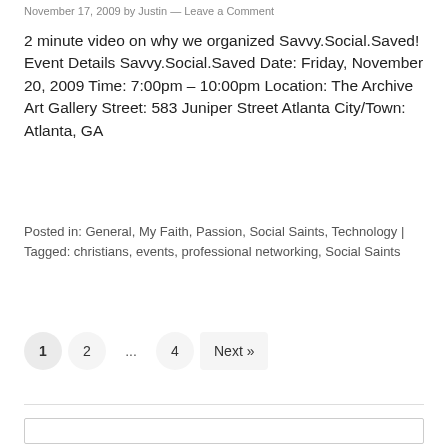November 17, 2009 by Justin — Leave a Comment
2 minute video on why we organized Savvy.Social.Saved! Event Details Savvy.Social.Saved Date: Friday, November 20, 2009 Time: 7:00pm – 10:00pm Location: The Archive Art Gallery Street: 583 Juniper Street Atlanta City/Town: Atlanta, GA
Posted in: General, My Faith, Passion, Social Saints, Technology | Tagged: christians, events, professional networking, Social Saints
1
2
...
4
Next »